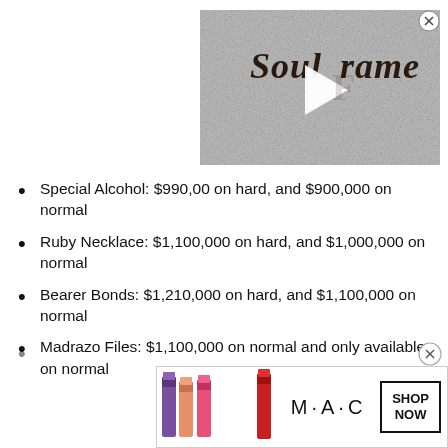[Figure (screenshot): Video thumbnail showing 'Soulframe' title on a stone-textured background with a play button overlay]
Special Alcohol: $990,00 on hard, and $900,000 on normal
Ruby Necklace: $1,100,000 on hard, and $1,000,000 on normal
Bearer Bonds: $1,210,000 on hard, and $1,100,000 on normal
Madrazo Files: $1,100,000 on normal and only available on normal
[Figure (advertisement): MAC cosmetics advertisement banner with lipsticks and SHOP NOW button]